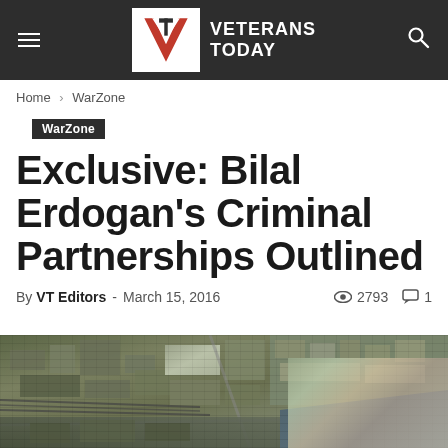Veterans Today
Home › WarZone
WarZone
Exclusive: Bilal Erdogan's Criminal Partnerships Outlined
By VT Editors - March 15, 2016  👁 2793  💬 1
[Figure (photo): Satellite aerial image of a port/industrial area]